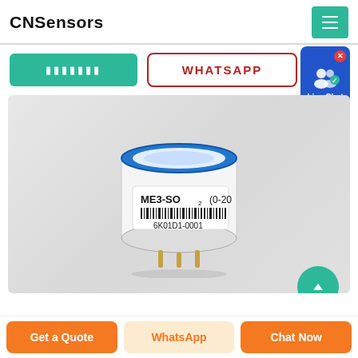CNSensors
Contact button (Chinese characters)
WHATSAPP
Live Chat
[Figure (photo): A cylindrical gas sensor labeled ME3-SO2 (0-20) with barcode 6K01D1-0001, white body with blue top ring, three gold pins at bottom, placed on light gray surface.]
Get a Quote
WhatsApp
Chat Now